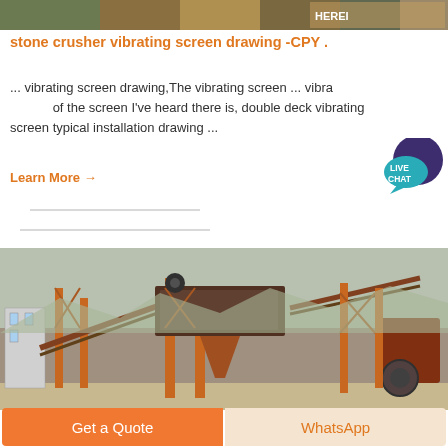[Figure (photo): Construction machinery site photo strip at top of page]
stone crusher vibrating screen drawing -CPY .
... vibrating screen drawing,The vibrating screen ... vibrating screen of the screen I've heard there is, double deck vibrating screen typical installation drawing ...
Learn More →
[Figure (photo): Industrial stone crushing and vibrating screen machinery setup with orange steel framework, conveyors and crushers at an outdoor site]
Get a Quote
WhatsApp